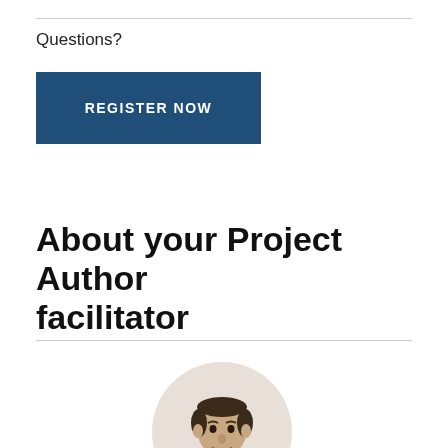Questions?
[Figure (other): Dark blue rectangular button labeled REGISTER NOW in white bold uppercase letters]
About your Project Author facilitator
[Figure (photo): Circular cropped photo of a man, showing head and upper shoulders, against a light beige/pink circular background]